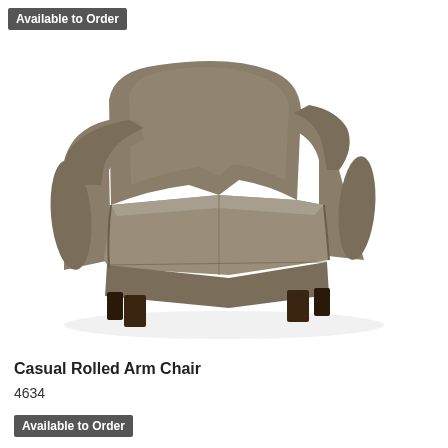Available to Order
[Figure (photo): A casual rolled arm chair upholstered in taupe/khaki fabric with dark espresso wood legs, shown in a three-quarter view against a white background.]
Casual Rolled Arm Chair
4634
Available to Order